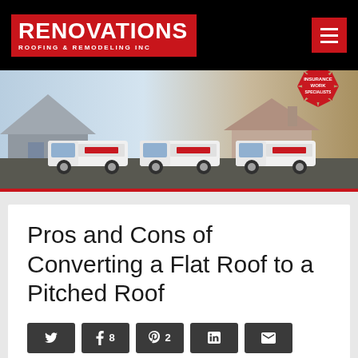[Figure (logo): Renovations Roofing & Remodeling Inc logo on black header bar with red hamburger menu button]
[Figure (photo): Hero banner showing three white branded pickup trucks parked in front of houses, with a red 'Insurance Work Specialists' starburst badge in top right]
Pros and Cons of Converting a Flat Roof to a Pitched Roof
[Figure (infographic): Social share buttons row: Twitter, Facebook (8 shares), Pinterest (2 saves), LinkedIn, Email]